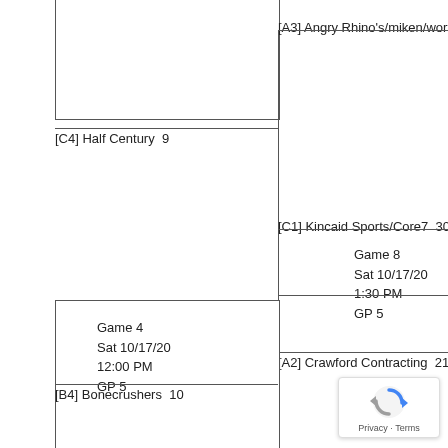Sat 10/17/20
11:00 AM
GP 4
[A3] Angry Rhino's/miken/worth  11
[C4] Half Century  9
[C1] Kincaid Sports/Core7  30
Game 8
Sat 10/17/20
1:30 PM
GP 5
[A2] Crawford Contracting  20
Game 4
Sat 10/17/20
12:00 PM
GP 5
[B4] Bonecrushers  10
[A2] Crawford Contracting  21
[Figure (logo): Google reCAPTCHA badge with Privacy and Terms links]